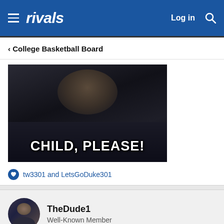rivals  Log in
< College Basketball Board
[Figure (photo): Meme image of a man in a dark shirt with white bold text reading 'CHILD, PLEASE!']
tw3301 and LetsGoDuke301
TheDude1
Well-Known Member
Mar 5, 2018